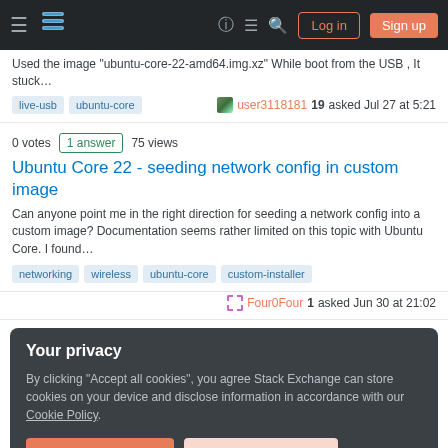Stack Exchange navigation bar with Log in and Sign up buttons
Used the image "ubuntu-core-22-amd64.img.xz" While boot from the USB , It stuck…
Tags: live-usb, ubuntu-core. user3118181 19 asked Jul 27 at 5:21
0 votes  1 answer  75 views
Ubuntu Core 22 - seeding network config in custom image
Can anyone point me in the right direction for seeding a network config into a custom image? Documentation seems rather limited on this topic with Ubuntu Core. I found…
Tags: networking, wireless, ubuntu-core, custom-installer. Four0Four 1 asked Jun 30 at 21:02
Your privacy
By clicking "Accept all cookies", you agree Stack Exchange can store cookies on your device and disclose information in accordance with our Cookie Policy.
Accept all cookies   Customize settings
0 votes  0 answers  37 views